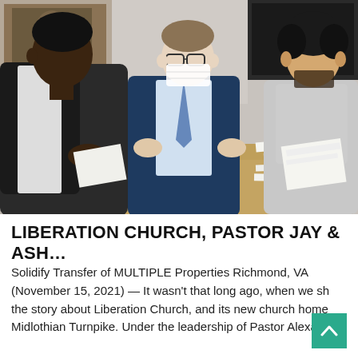[Figure (photo): Three people sitting at a conference table in a meeting room. One person on the left (Black man in dark vest over white shirt) looks down at papers. In the center, a man in a navy suit and face mask appears to be speaking with hands slightly raised. On the right, a younger man with curly hair in a light gray hoodie also holds papers. A granite-topped conference table has documents, phones, and items on it. A painting and dark monitor are visible in the background.]
LIBERATION CHURCH, PASTOR JAY & ASH…
Solidify Transfer of MULTIPLE Properties Richmond, VA (November 15, 2021) — It wasn't that long ago, when we shared the story about Liberation Church, and its new church home on Midlothian Turnpike. Under the leadership of Pastor Alexander